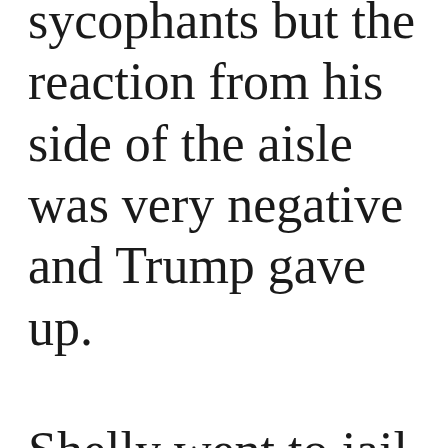sycophants but the reaction from his side of the aisle was very negative and Trump gave up. Shelly went to jail